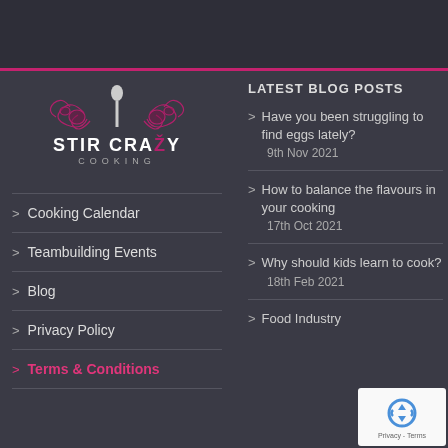[Figure (logo): Stir Crazy Cooking logo with decorative pink flourishes and a spoon icon. Text reads STIR CRAZY COOKING.]
> Cooking Calendar
> Teambuilding Events
> Blog
> Privacy Policy
> Terms & Conditions
LATEST BLOG POSTS
> Have you been struggling to find eggs lately? 9th Nov 2021
> How to balance the flavours in your cooking 17th Oct 2021
> Why should kids learn to cook? 18th Feb 2021
> Food Industry
[Figure (other): Google reCAPTCHA widget with recycling icon arrows logo. Text: Privacy - Terms]